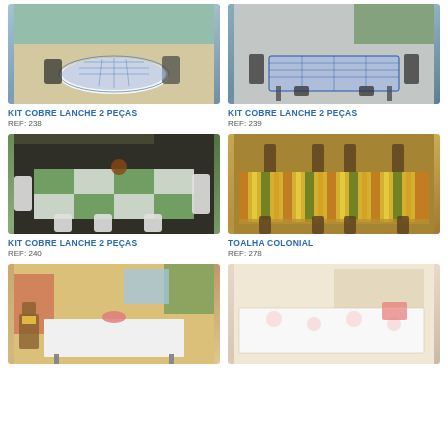[Figure (photo): Round table with blue gingham tablecloth outdoors, wicker chairs]
KIT COBRE LANCHE 2 PEÇAS
REF: 238
[Figure (photo): Outdoor dining table with blue checkered tablecloth and chairs against stone wall]
KIT COBRE LANCHE 2 PEÇAS
REF: 239
[Figure (photo): Dining table with green and white checkered tablecloth with rooster decoration]
KIT COBRE LANCHE 2 PEÇAS
REF: 240
[Figure (photo): Long dining table with multicolored striped colonial tablecloth]
TOALHA COLONIAL
REF: 278
[Figure (photo): Table with white tablecloth in a veranda setting]
[Figure (photo): Long table with white floral tablecloth]